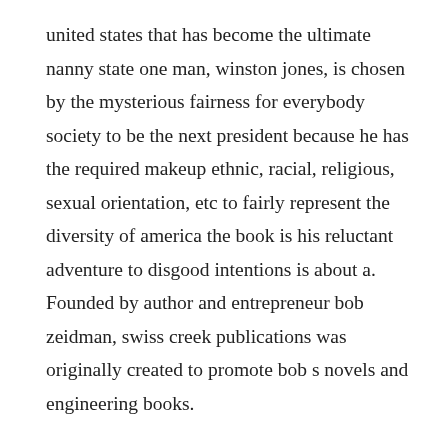united states that has become the ultimate nanny state one man, winston jones, is chosen by the mysterious fairness for everybody society to be the next president because he has the required makeup ethnic, racial, religious, sexual orientation, etc to fairly represent the diversity of america the book is his reluctant adventure to disgood intentions is about a. Founded by author and entrepreneur bob zeidman, swiss creek publications was originally created to promote bob s novels and engineering books.